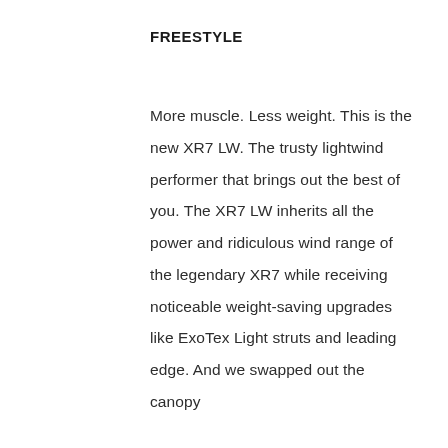FREESTYLE
More muscle. Less weight. This is the new XR7 LW. The trusty lightwind performer that brings out the best of you. The XR7 LW inherits all the power and ridiculous wind range of the legendary XR7 while receiving noticeable weight-saving upgrades like ExoTex Light struts and leading edge. And we swapped out the canopy